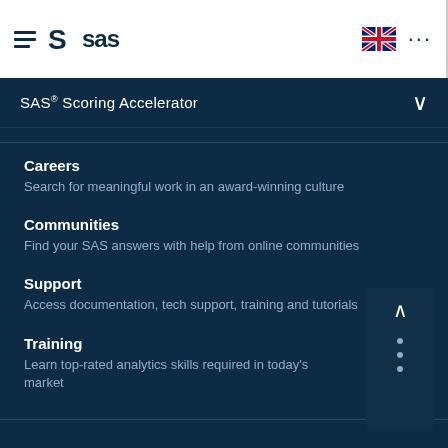SAS (logo navigation bar with hamburger menu, UK flag, and ellipsis menu)
SAS® Scoring Accelerator
Careers
Search for meaningful work in an award-winning culture
Communities
Find your SAS answers with help from online communities
Support
Access documentation, tech support, training and tutorials
Training
Learn top-rated analytics skills required in today's market